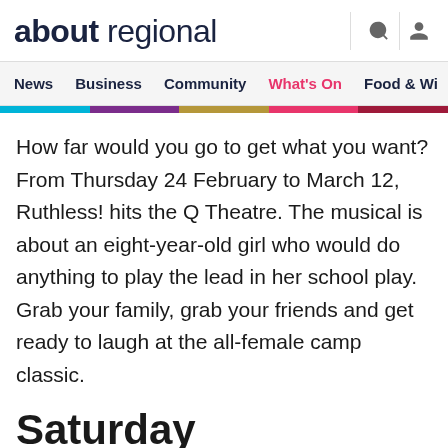about regional
News  Business  Community  What's On  Food & Wi
How far would you go to get what you want? From Thursday 24 February to March 12, Ruthless! hits the Q Theatre. The musical is about an eight-year-old girl who would do anything to play the lead in her school play. Grab your family, grab your friends and get ready to laugh at the all-female camp classic.
Saturday